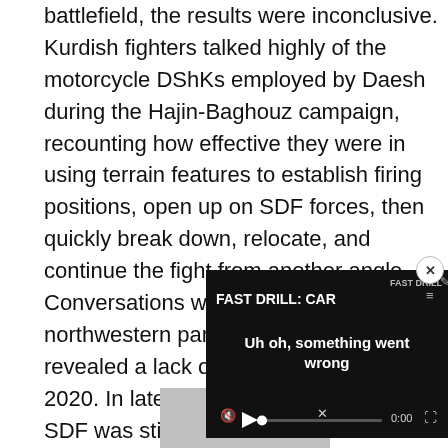battlefield, the results were inconclusive. Kurdish fighters talked highly of the motorcycle DShKs employed by Daesh during the Hajin-Baghouz campaign, recounting how effective they were in using terrain features to establish firing positions, open up on SDF forces, then quickly break down, relocate, and continue the fight from another angle. Conversations with fighters in the northwestern part of Syria in Idlib revealed a lack of widespread use as of 2020. In late 2019 and early 2020, the SDF was still using the platform on a very limited scale against Turkish-back[ed] forces on the Tel Tamir-Ay[...]
[Figure (screenshot): Video player overlay showing error message 'Uh oh, something went wrong' over a dark background, with 'FAST DRILL: CAR' title text and playback controls at bottom. A close button (x) appears in top-right corner.]
[Figure (photo): Partial grey/silver photograph visible at bottom-left of page, content indeterminate.]